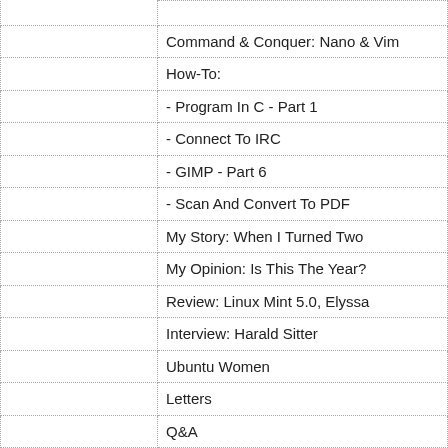|  | Command & Conquer: Nano & Vim |
|  | How-To: |
|  | - Program In C - Part 1 |
|  | - Connect To IRC |
|  | - GIMP - Part 6 |
|  | - Scan And Convert To PDF |
|  | My Story: When I Turned Two |
|  | My Opinion: Is This The Year? |
|  | Review: Linux Mint 5.0, Elyssa |
|  | Interview: Harald Sitter |
|  | Ubuntu Women |
|  | Letters |
|  | Q&A |
|  | My Desktop |
|  | Top 5 Email Notifiers |
| Issue 18 |  |
|  | News |
|  | Command & Conquer: Package Management |